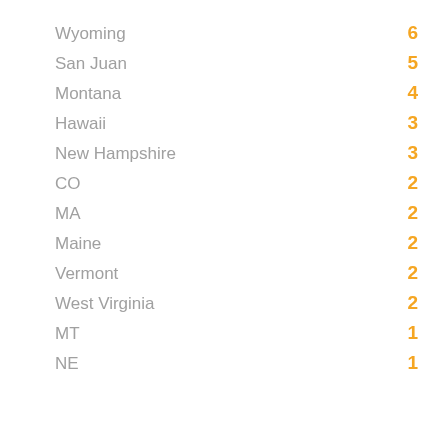Wyoming — 6
San Juan — 5
Montana — 4
Hawaii — 3
New Hampshire — 3
CO — 2
MA — 2
Maine — 2
Vermont — 2
West Virginia — 2
MT — 1
NE — 1